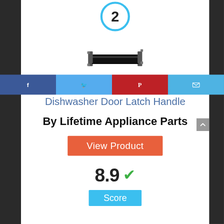[Figure (other): Blue circle with number 2 inside]
[Figure (photo): 8269117 Whirlpool Dishwasher Door Latch Handle product photo]
8269117 Whirlpool Dishwasher Dishwasher Door Latch Handle
By Lifetime Appliance Parts
View Product
8.9
Score
[Figure (infographic): Social sharing bar with Facebook, Twitter, Pinterest, and Email icons]